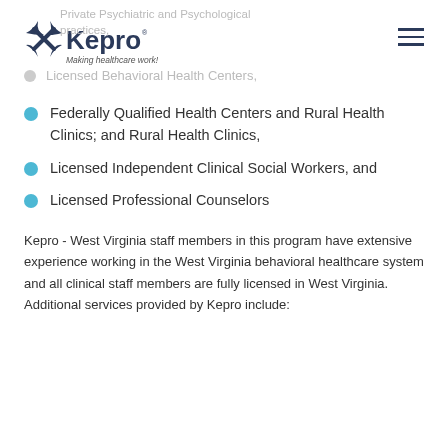Kepro - Making healthcare work
Private Psychiatric and Psychological practices,
Licensed Behavioral Health Centers,
Federally Qualified Health Centers and Rural Health Clinics; and Rural Health Clinics,
Licensed Independent Clinical Social Workers, and
Licensed Professional Counselors
Kepro - West Virginia staff members in this program have extensive experience working in the West Virginia behavioral healthcare system and all clinical staff members are fully licensed in West Virginia. Additional services provided by Kepro include: